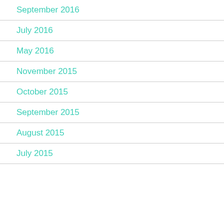September 2016
July 2016
May 2016
November 2015
October 2015
September 2015
August 2015
July 2015